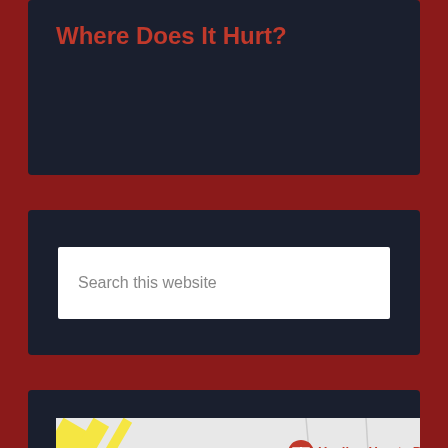Where Does It Hurt?
Search this website
[Figure (map): Google Maps embed showing medical facilities including Healing Hearts Pediatrics, Lund Home Hospice of the Valley, East Cli Hospice, and Mercy Center with map pins and street layout.]